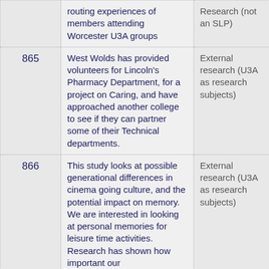| ID | Description | Type | Extra |
| --- | --- | --- | --- |
|  | routing experiences of members attending Worcester U3A groups | Research (not an SLP) |  |
| 865 | West Wolds has provided volunteers for Lincoln's Pharmacy Department, for a project on Caring, and have approached another college to see if they can partner some of their Technical departments. | External research (U3A as research subjects) | West Wo... |
| 866 | This study looks at possible generational differences in cinema going culture, and the potential impact on memory. We are interested in looking at personal memories for leisure time activities. Research has shown how important our | External research (U3A as research subjects) | Individua... members... London,... on reque... received... U3A |